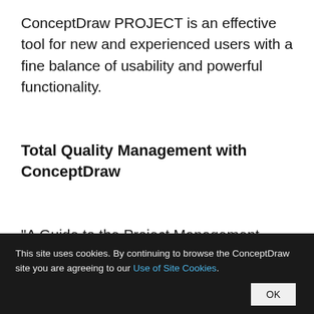ConceptDraw PROJECT is an effective tool for new and experienced users with a fine balance of usability and powerful functionality.
Total Quality Management with ConceptDraw
"A Guide to the Project Management Body of Knowledge - Fifth Edition provides
This site uses cookies. By continuing to browse the ConceptDraw site you are agreeing to our Use of Site Cookies.